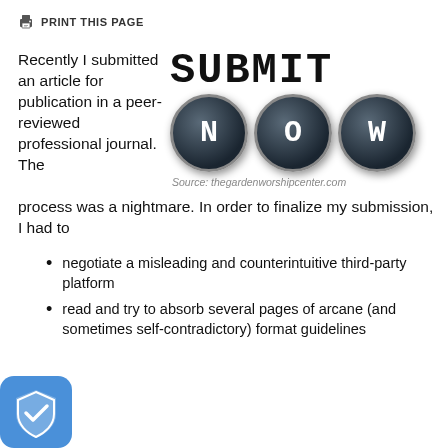PRINT THIS PAGE
[Figure (illustration): Typewriter-style 'SUBMIT NOW' graphic with keys spelling N, O, W as large circular typewriter buttons. Source: thegardenworshipcenter.com]
Source: thegardenworshipcenter.com
Recently I submitted an article for publication in a peer-reviewed professional journal. The process was a nightmare. In order to finalize my submission, I had to
negotiate a misleading and counterintuitive third-party platform
read and try to absorb several pages of arcane (and sometimes self-contradictory) format guidelines